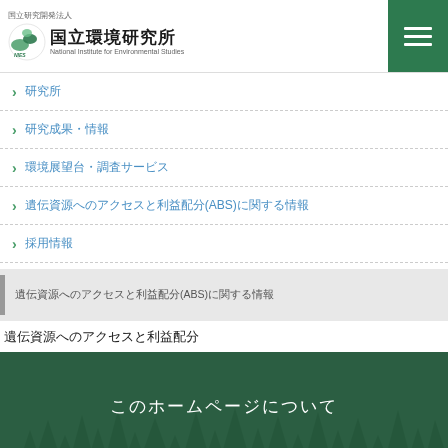国立環境研究所 National Institute for Environmental Studies
研究所
研究成果・情報
環境展望台・調査サービス
遺伝資源へのアクセスと利益配分(ABS)に関する情報
採用情報
遺伝資源へのアクセスと利益配分(ABS)に関する情報
遺伝資源へのアクセスと利益配分
このホームページについて